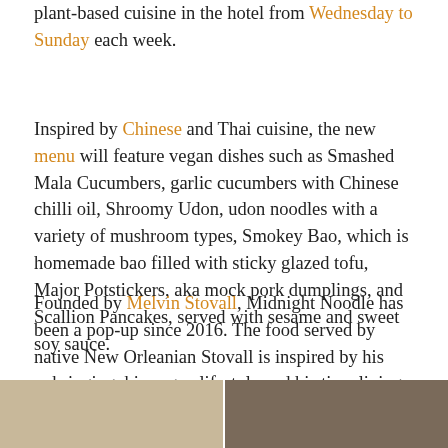plant-based cuisine in the hotel from Wednesday to Sunday each week.
Inspired by Chinese and Thai cuisine, the new menu will feature vegan dishes such as Smashed Mala Cucumbers, garlic cucumbers with Chinese chilli oil, Shroomy Udon, udon noodles with a variety of mushroom types, Smokey Bao, which is homemade bao filled with sticky glazed tofu, Major Potstickers, aka mock pork dumplings, and Scallion Pancakes, served with sesame and sweet soy sauce.
Founded by Melvin Stovall, Midnight Noodle has been a pop-up since 2016. The food served by native New Orleanian Stovall is inspired by his upbringing, his vegan lifestyle and his time living in Los Angeles.
[Figure (photo): Two side-by-side photos at the bottom of the page. Left photo shows a light-toned scene (beige/tan tones). Right photo shows a darker scene with brown tones.]